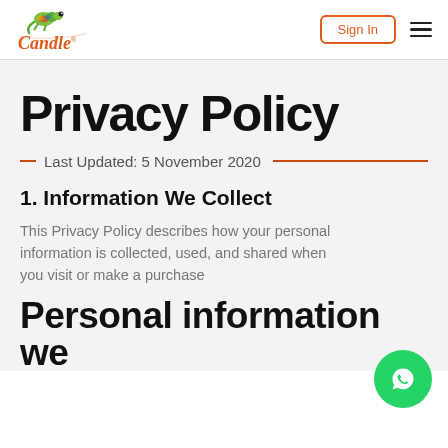[Figure (logo): Candle brand logo with colorful chameleon and orange cursive text]
Sign In
Privacy Policy
Last Updated: 5 November 2020
1. Information We Collect
This Privacy Policy describes how your personal information is collected, used, and shared when you visit or make a purchase
Personal information we
[Figure (illustration): WhatsApp floating action button (green circle with white phone/chat icon)]